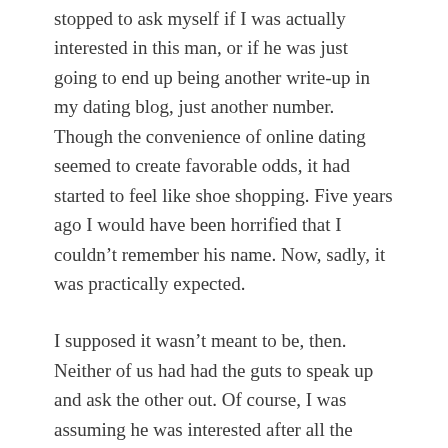stopped to ask myself if I was actually interested in this man, or if he was just going to end up being another write-up in my dating blog, just another number. Though the convenience of online dating seemed to create favorable odds, it had started to feel like shoe shopping. Five years ago I would have been horrified that I couldn't remember his name. Now, sadly, it was practically expected.
I supposed it wasn't meant to be, then. Neither of us had had the guts to speak up and ask the other out. Of course, I was assuming he was interested after all the things he remembered about me. Wouldn't you? Who knows if I'd ever see him again. I had been running extremely late that day, and sometimes I took the other bus that came to my stop, and other times I went to work at 7:00 rather than 7:30…clearly this wasn't